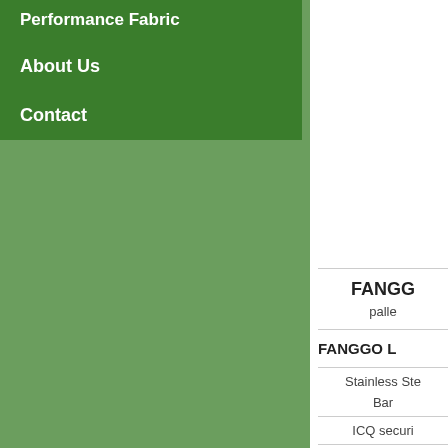Performance Fabric
About Us
Contact
FANGGO
palle
FANGGO L
Stainless Ste
Bar
ICQ securi